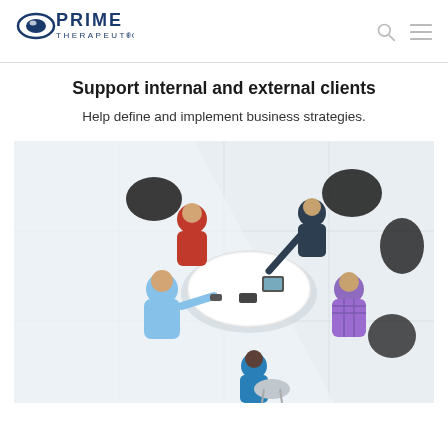Prime Therapeutics
Support internal and external clients
Help define and implement business strategies.
[Figure (photo): Aerial overhead view of five people sitting around a round white table in a modern office space with dark pod chairs, engaged in a meeting, some holding phones or tablets.]